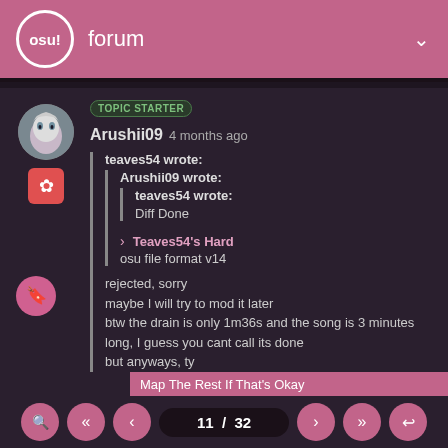osu! forum
TOPIC STARTER
Arushii09 4 months ago
teaves54 wrote:
  Arushii09 wrote:
    teaves54 wrote:
    Diff Done

    > Teaves54's Hard
    osu file format v14

rejected, sorry
maybe I will try to mod it later
btw the drain is only 1m36s and the song is 3 minutes long, I guess you cant call its done
but anyways, ty
Map The Rest If That's Okay
11 / 32